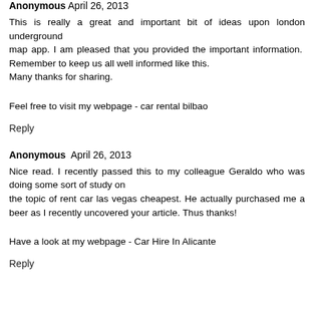Anonymous April 26, 2013
This is really a great and important bit of ideas upon london underground
map app. I am pleased that you provided the important information. Remember to keep us all well informed like this.
Many thanks for sharing.
Feel free to visit my webpage - car rental bilbao
Reply
Anonymous April 26, 2013
Nice read. I recently passed this to my colleague Geraldo who was doing some sort of study on
the topic of rent car las vegas cheapest. He actually purchased me a beer as I recently uncovered your article. Thus thanks!
Have a look at my webpage - Car Hire In Alicante
Reply